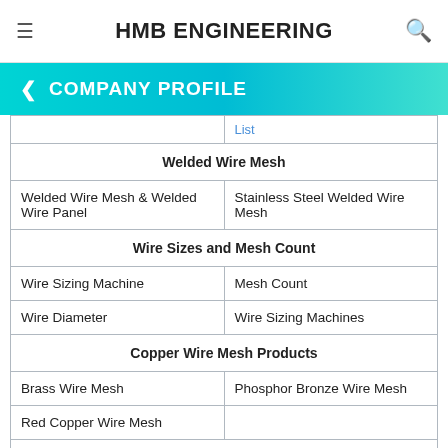HMB ENGINEERING
COMPANY PROFILE
| [partial row] | List |
| Welded Wire Mesh |  |
| Welded Wire Mesh & Welded Wire Panel | Stainless Steel Welded Wire Mesh |
| Wire Sizes and Mesh Count |  |
| Wire Sizing Machine | Mesh Count |
| Wire Diameter | Wire Sizing Machines |
| Copper Wire Mesh Products |  |
| Brass Wire Mesh | Phosphor Bronze Wire Mesh |
| Red Copper Wire Mesh |  |
| Stainless Steel Wire Mesh |  |
| Stainless Steel Wire Mesh Baskets | Steel Sieving Mesh |